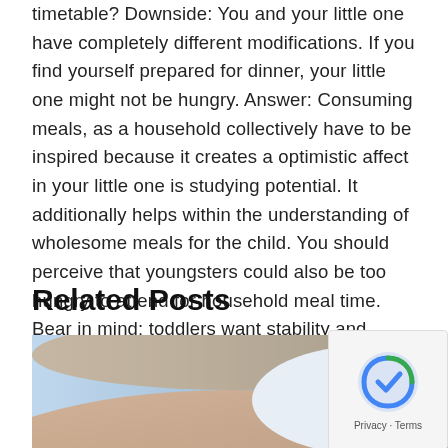timetable? Downside: You and your little one have completely different modifications. If you find yourself prepared for dinner, your little one might not be hungry. Answer: Consuming meals, as a household collectively have to be inspired because it creates a optimistic affect in your little one is studying potential. It additionally helps within the understanding of wholesome meals for the child. You should perceive that youngsters could also be too hungry to attend for household meal time. Bear in mind: toddlers want stability and expectedness.
Related Posts
[Figure (photo): Close-up photo of a person's eye with a digital/tech overlay showing eye chart letters (E, F, P, T, O, Z) in a circular blue lens graphic]